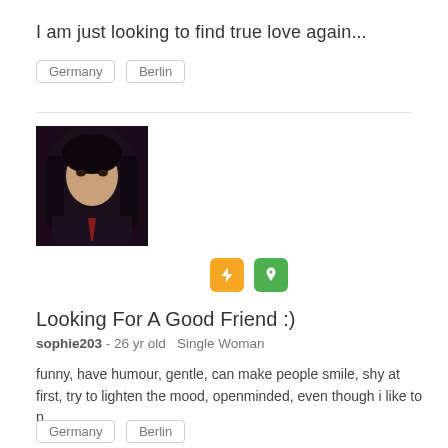I am just looking to find true love again...
Germany   Berlin
[Figure (photo): Profile photo of a young woman with long dark hair wearing a dark jacket and red tie, dark moody background]
Looking For A Good Friend :)
sophie203 - 26 yr old   Single Woman
funny, have humour, gentle, can make people smile, shy at first, try to lighten the mood, openminded, even though i like to p...
Germany   Berlin